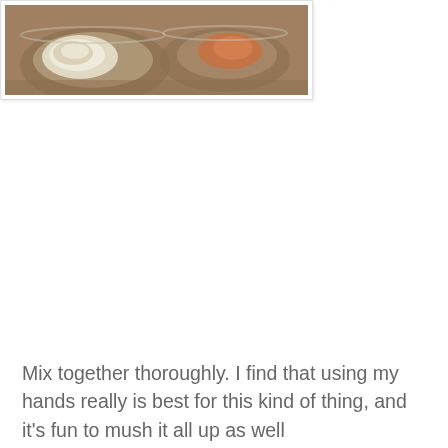[Figure (photo): A food photo showing what appears to be a dessert or dish in glass bowls on a table, partially visible at the top of the page. The image is cropped showing only the bottom portion.]
Mix together thoroughly. I find that using my hands really is best for this kind of thing, and it's fun to mush it all up as well